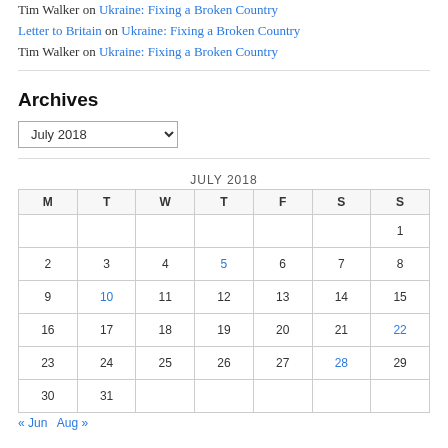Tim Walker on Ukraine: Fixing a Broken Country
Letter to Britain on Ukraine: Fixing a Broken Country
Tim Walker on Ukraine: Fixing a Broken Country
Archives
July 2018 [dropdown]
| M | T | W | T | F | S | S |
| --- | --- | --- | --- | --- | --- | --- |
|  |  |  |  |  |  | 1 |
| 2 | 3 | 4 | 5 | 6 | 7 | 8 |
| 9 | 10 | 11 | 12 | 13 | 14 | 15 |
| 16 | 17 | 18 | 19 | 20 | 21 | 22 |
| 23 | 24 | 25 | 26 | 27 | 28 | 29 |
| 30 | 31 |  |  |  |  |  |
« Jun   Aug »